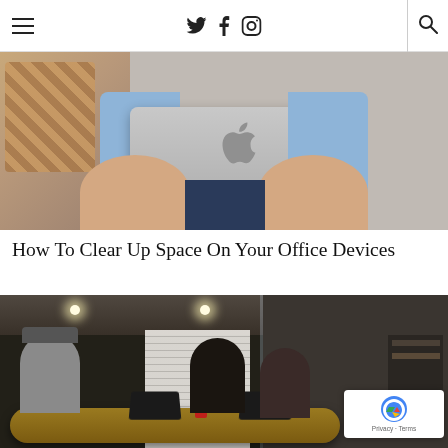≡  𝕏 f 📷  🔍
[Figure (photo): Person sitting on a couch using a MacBook laptop, seen from the front/top showing the Apple logo on the lid, with knees visible on either side]
How To Clear Up Space On Your Office Devices
[Figure (photo): People sitting around a conference room table with laptops, in a modern office with blinds and recessed lighting. A reCAPTCHA badge is visible in the bottom-right corner.]